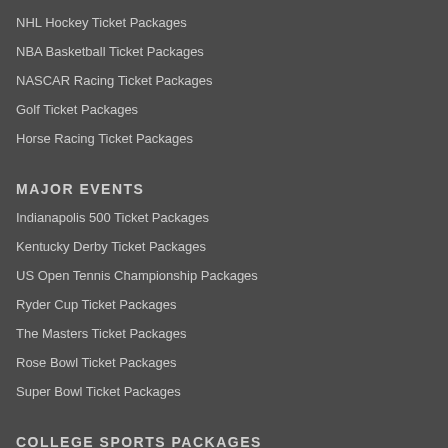NHL Hockey Ticket Packages
NBA Basketball Ticket Packages
NASCAR Racing Ticket Packages
Golf Ticket Packages
Horse Racing Ticket Packages
MAJOR EVENTS
Indianapolis 500 Ticket Packages
Kentucky Derby Ticket Packages
US Open Tennis Championship Packages
Ryder Cup Ticket Packages
The Masters Ticket Packages
Rose Bowl Ticket Packages
Super Bowl Ticket Packages
COLLEGE SPORTS PACKAGES